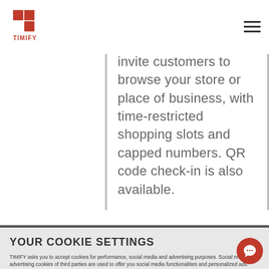[Figure (logo): TIMIFY logo — red T-shaped tetromino icon above red TIMIFY wordmark]
invite customers to browse your store or place of business, with time-restricted shopping slots and capped numbers. QR code check-in is also available.
YOUR COOKIE SETTINGS
TIMIFY asks you to accept cookies for performance, social media and advertising purposes. Social media and advertising cookies of third parties are used to offer you social media functionalities and personalized ads.
To get more information or amend your preferences, press the 'more information' button or visit "Cookie Settings" at the bottom of the website. To get more information about these cookies and the processing of your personal data, check our Privacy & Cookie Policy. Do you accept these cookies and the processing of personal data involved?